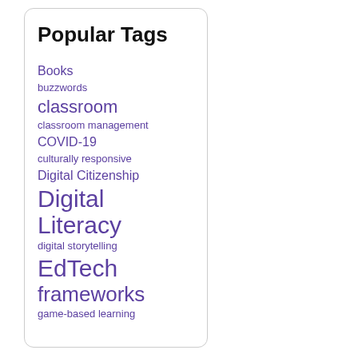Popular Tags
Books
buzzwords
classroom
classroom management
COVID-19
culturally responsive
Digital Citizenship
Digital Literacy
digital storytelling
EdTech
frameworks
game-based learning